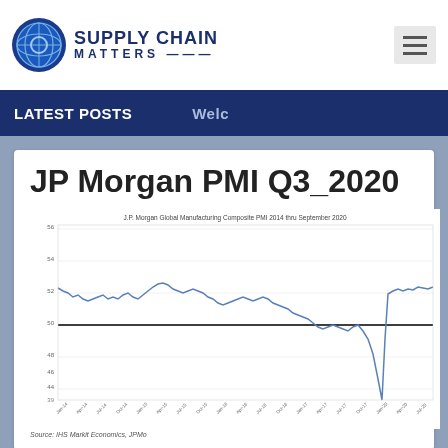Supply Chain Matters
LATEST POSTS   Welc
JP Morgan PMI Q3_2020
[Figure (continuous-plot): J.P. Morgan Global Manufacturing Composite PMI 2014 thru September 2020 line chart showing PMI values from roughly 51-54 range during 2014-2018, declining to around 50 in 2019, then a sharp drop to approximately 39 in early 2020 followed by a strong recovery toward 50-51 by September 2020. A horizontal reference line is drawn at 50.]
Source: IHS Markit Economics, JPMo